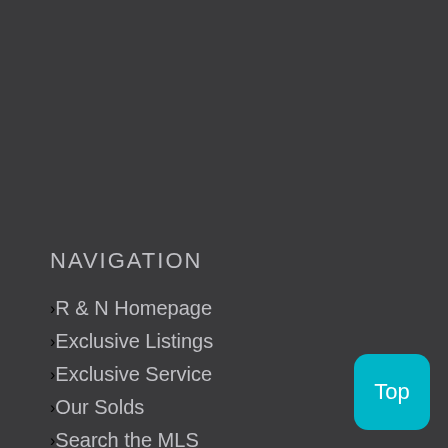NAVIGATION
R & N Homepage
Exclusive Listings
Exclusive Service
Our Solds
Search the MLS
Testimonials
Video Library
Contact Us
SEARCH THE MLS
Top